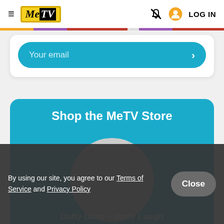≡ MeTV  [bell icon] [user icon] LOG IN
Your email  >
Shop the MeTV Store
[Figure (photo): A gray crew-neck t-shirt displayed in a circular cropped frame on a teal background]
Daffy Duck - Daffy Laugh
By using our site, you agree to our Terms of Service and Privacy Policy
Close